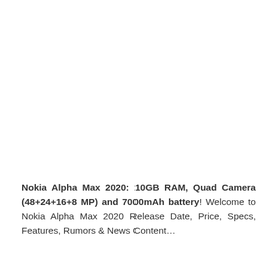Nokia Alpha Max 2020: 10GB RAM, Quad Camera (48+24+16+8 MP) and 7000mAh battery! Welcome to Nokia Alpha Max 2020 Release Date, Price, Specs, Features, Rumors & News Content…